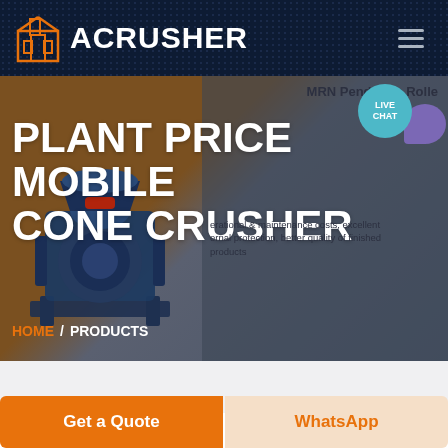ACRUSHER
PLANT PRICE MOBILE CONE CRUSHER
MRN Pendulum Rolle
erational & maintenance costs, excellent ernal protection, better quality of finished products
HOME / PRODUCTS
[Figure (screenshot): Live Chat bubble button, teal circle with white text LIVE CHAT]
[Figure (photo): Industrial cone crusher machine, dark blue metallic, on stand]
Get a Quote
WhatsApp